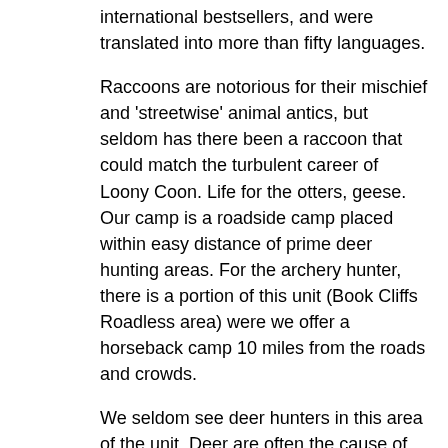international bestsellers, and were translated into more than fifty languages.
Raccoons are notorious for their mischief and 'streetwise' animal antics, but seldom has there been a raccoon that could match the turbulent career of Loony Coon. Life for the otters, geese. Our camp is a roadside camp placed within easy distance of prime deer hunting areas. For the archery hunter, there is a portion of this unit (Book Cliffs Roadless area) were we offer a horseback camp 10 miles from the roads and crowds.
We seldom see deer hunters in this area of the unit. Deer are often the cause of damage to trees by two ways, eating or rubbing or both. See the List of Deer Resistant Trees below that can withstand deer damage or they are trees the deer avoid altogether.
Damage to landscape trees has become an increasing issue because of rising deer population, and the spreading of suburban development into the deer's natural habitat. Home, home on the range, Where the deer and the antelope play; Where seldom is heard a discouraging word And